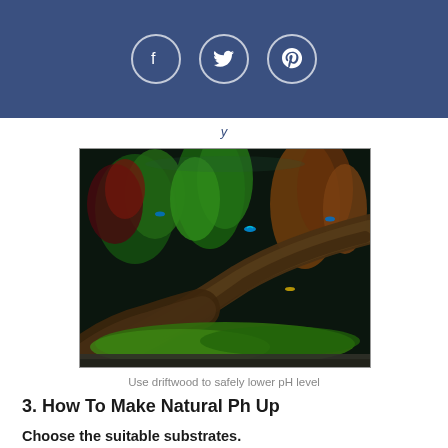Social share icons: Facebook, Twitter, Pinterest
[Figure (photo): An aquarium aquascape featuring driftwood with green aquatic plants, moss, red plants, and small tropical fish against a dark background with gravel substrate.]
Use driftwood to safely lower pH level
3. How To Make Natural Ph Up
Choose the suitable substrates.
Crushed coral or dolomite gravel are